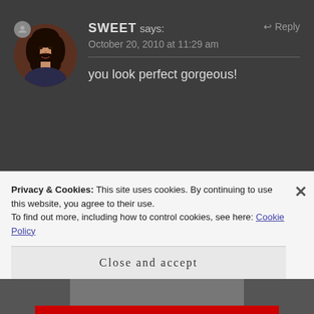[Figure (photo): Circular avatar photo of a young woman with dark hair, on a dark background]
SWEET says:
October 20, 2010 at 11:29 am
↩ Reply
you look perfect gorgeous!
Pingback: Confessions of a Drama Queen- With fairer skin, what can you
Privacy & Cookies: This site uses cookies. By continuing to use this website, you agree to their use.
To find out more, including how to control cookies, see here: Cookie Policy
Close and accept